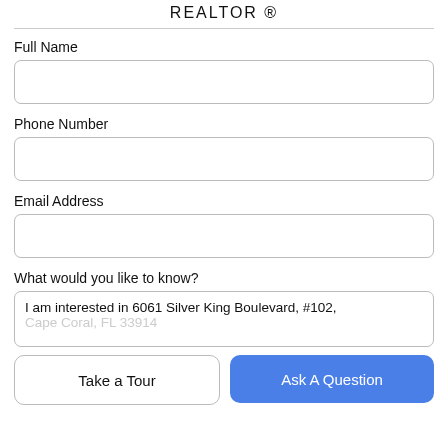REALTOR ®
Full Name
Phone Number
Email Address
What would you like to know?
I am interested in 6061 Silver King Boulevard, #102,
Cape Coral, FL 33914
Take a Tour
Ask A Question